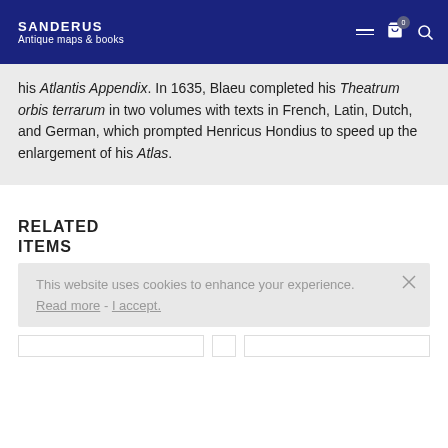SANDERUS Antique maps & books
his Atlantis Appendix. In 1635, Blaeu completed his Theatrum orbis terrarum in two volumes with texts in French, Latin, Dutch, and German, which prompted Henricus Hondius to speed up the enlargement of his Atlas.
RELATED ITEMS
This website uses cookies to enhance your experience. Read more - I accept.